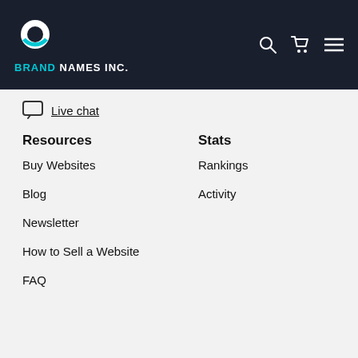BRAND NAMES INC.
Live chat
Resources
Stats
Buy Websites
Rankings
Blog
Activity
Newsletter
How to Sell a Website
FAQ
© 2022 BrandNames.net #1 rated websites marketplace to buy websites for sale
Terms of Service   Privacy Policy